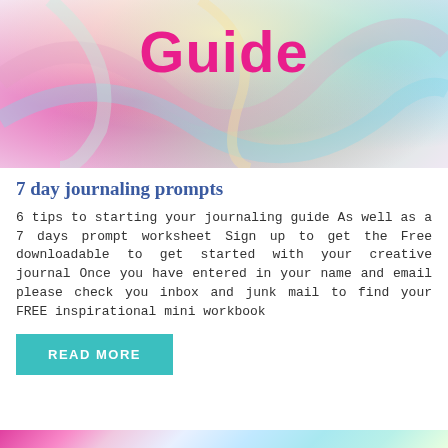[Figure (illustration): Colorful rainbow swirl abstract background image with the word 'Guide' in bold pink text at the top center]
7 day journaling prompts
6 tips to starting your journaling guide As well as a 7 days prompt worksheet Sign up to get the Free downloadable to get started with your creative journal Once you have entered in your name and email please check you inbox and junk mail to find your FREE inspirational mini workbook
READ MORE